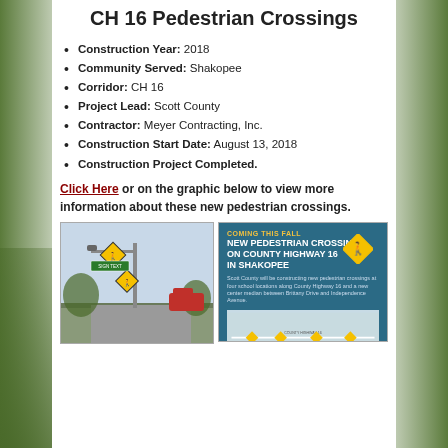CH 16 Pedestrian Crossings
Construction Year: 2018
Community Served: Shakopee
Corridor: CH 16
Project Lead: Scott County
Contractor: Meyer Contracting, Inc.
Construction Start Date: August 13, 2018
Construction Project Completed.
Click Here or on the graphic below to view more information about these new pedestrian crossings.
[Figure (photo): Photo of pedestrian crossing signs installed on a pole at a road intersection]
[Figure (infographic): Infographic: Coming This Fall - New Pedestrian Crossings on County Highway 16 in Shakopee, with map showing four school locations along County Highway 16 and a new center median between Brittany Drive and Independence Avenue]